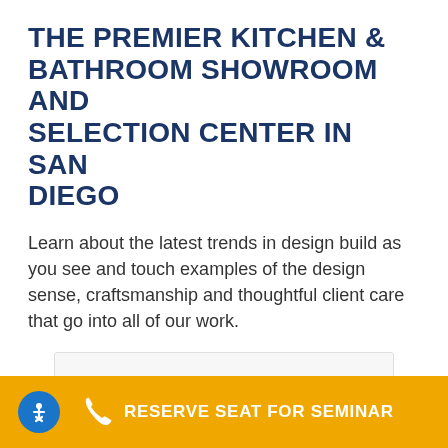THE PREMIER KITCHEN & BATHROOM SHOWROOM AND SELECTION CENTER IN SAN DIEGO
Learn about the latest trends in design build as you see and touch examples of the design sense, craftsmanship and thoughtful client care that go into all of our work.
[Figure (infographic): A card/box with text 'Jackson Design and Remodeling Showroom' and a small map pin icon below]
RESERVE SEAT FOR SEMINAR